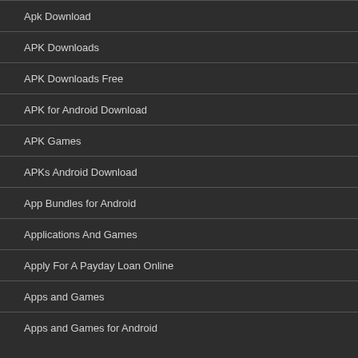Apk Download
APK Downloads
APK Downloads Free
APK for Android Download
APK Games
APKs Android Download
App Bundles for Android
Applications And Games
Apply For A Payday Loan Online
Apps and Games
Apps and Games for Android